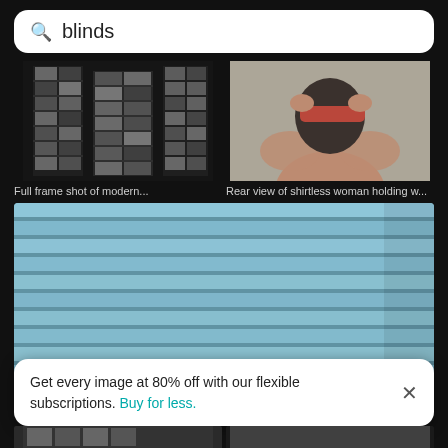blinds (search bar)
[Figure (screenshot): Search results grid showing two thumbnail images: (1) black and white full frame shot of modern building with grid windows, (2) rear view of shirtless woman holding a red blindfold/headband to her hair]
Full frame shot of modern...
Rear view of shirtless woman holding w...
[Figure (photo): Large photo of light blue horizontal window blinds filling the frame]
Get every image at 80% off with our flexible subscriptions. Buy for less.